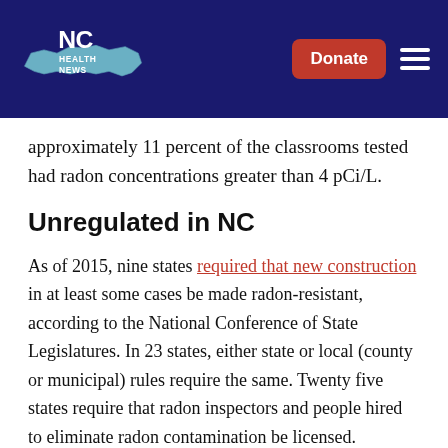NC Health News
approximately 11 percent of the classrooms tested had radon concentrations greater than 4 pCi/L.
Unregulated in NC
As of 2015, nine states required that new construction in at least some cases be made radon-resistant, according to the National Conference of State Legislatures. In 23 states, either state or local (county or municipal) rules require the same. Twenty five states require that radon inspectors and people hired to eliminate radon contamination be licensed.